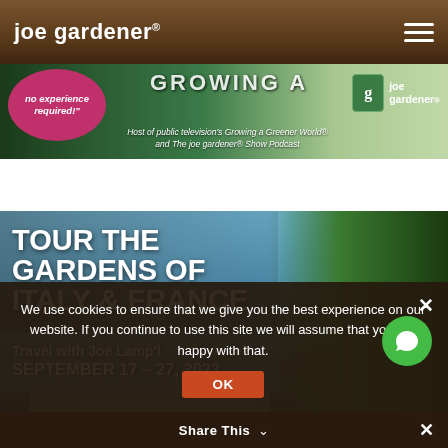joe gardener®
[Figure (photo): Banner advertisement for joe gardener brand showing a host of public television's Growing a Greener World and The joe gardener Show Podcast, with pink circle saying 'no experience required!' and joe gardener logo on right]
[Figure (photo): Tour advertisement image showing scenic Italian/French garden destination with lake, mountains, buildings, and lush greenery with cypress trees. Text overlay reads: TOUR THE GARDENS OF ITALY & FRANCE, Travel with Joe Lamp'l, SEPTEMBER 17 – 27, 2023]
We use cookies to ensure that we give you the best experience on our website. If you continue to use this site we will assume that you are happy with that.
Share This